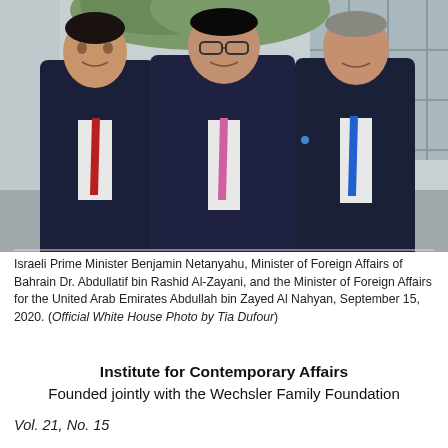[Figure (photo): Three men in suits standing together: Israeli Prime Minister Benjamin Netanyahu (right, blue tie), Minister of Foreign Affairs of Bahrain Dr. Abdullatif bin Rashid Al-Zayani (center, pink tie), and Minister of Foreign Affairs for the United Arab Emirates Abdullah bin Zayed Al Nahyan (left, red tie), posing in front of a white building. Official White House photo taken September 15, 2020.]
Israeli Prime Minister Benjamin Netanyahu, Minister of Foreign Affairs of Bahrain Dr. Abdullatif bin Rashid Al-Zayani, and the Minister of Foreign Affairs for the United Arab Emirates Abdullah bin Zayed Al Nahyan, September 15, 2020. (Official White House Photo by Tia Dufour)
Institute for Contemporary Affairs
Founded jointly with the Wechsler Family Foundation
Vol. 21, No. 15